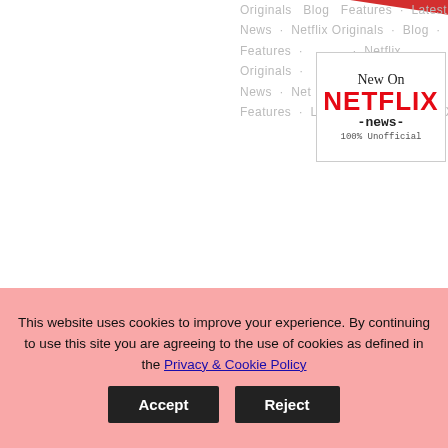[Figure (logo): New On Netflix -news- 100% Unofficial logo box with red NETFLIX text]
Originals · Blog · Features · Latest News · Netflix Originals · Blog · Features · Netflix Originals · Latest News · Netflix Blog · Features · Latest News · NETFLIX
The News
Netflix Announces New Korean Horror Series “Parasyte: The...
By MaFt On August 26, 2022 In Netflix Originals, Netflix
This website uses cookies to improve your experience. By continuing to use this site you are agreeing to the use of cookies as defined in the Privacy & Cookie Policy